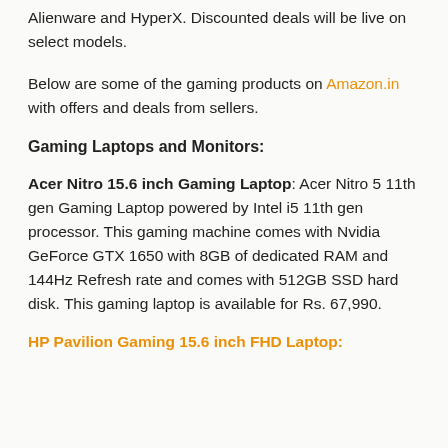Alienware and HyperX. Discounted deals will be live on select models.
Below are some of the gaming products on Amazon.in with offers and deals from sellers.
Gaming Laptops and Monitors:
Acer Nitro 15.6 inch Gaming Laptop: Acer Nitro 5 11th gen Gaming Laptop powered by Intel i5 11th gen processor. This gaming machine comes with Nvidia GeForce GTX 1650 with 8GB of dedicated RAM and 144Hz Refresh rate and comes with 512GB SSD hard disk. This gaming laptop is available for Rs. 67,990.
HP Pavilion Gaming 15.6 inch FHD Laptop: